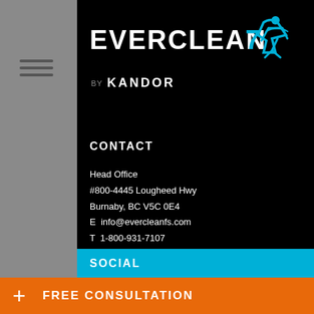[Figure (logo): EVERCLEAN logo with stylized running figure icon in cyan/blue, on black background]
BY KANDOR
CONTACT
Head Office
#800-4445 Lougheed Hwy
Burnaby, BC V5C 0E4
E  info@evercleanfs.com
T  1-800-931-7107
SOCIAL
[Figure (illustration): Social media icons: Instagram, Facebook, LinkedIn on teal background]
+ FREE CONSULTATION